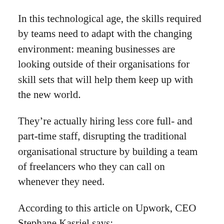In this technological age, the skills required by teams need to adapt with the changing environment: meaning businesses are looking outside of their organisations for skill sets that will help them keep up with the new world.
They're actually hiring less core full- and part-time staff, disrupting the traditional organisational structure by building a team of freelancers who they can call on whenever they need.
According to this article on Upwork, CEO Stephane Kasriel says:
“Businesses are scrambling to adapt and keep up with the rapid pace of change in our world. In just a few years, a